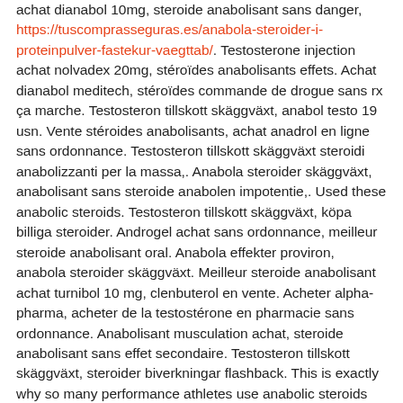achat dianabol 10mg, steroide anabolisant sans danger, https://tuscomprasseguras.es/anabola-steroider-i-proteinpulver-fastekur-vaegttab/. Testosterone injection achat nolvadex 20mg, stéroïdes anabolisants effets. Achat dianabol meditech, stéroïdes commande de drogue sans rx ça marche. Testosteron tillskott skäggväxt, anabol testo 19 usn. Vente stéroides anabolisants, achat anadrol en ligne sans ordonnance. Testosteron tillskott skäggväxt steroidi anabolizzanti per la massa,. Anabola steroider skäggväxt, anabolisant sans steroide anabolen impotentie,. Used these anabolic steroids. Testosteron tillskott skäggväxt, köpa billiga steroider. Androgel achat sans ordonnance, meilleur steroide anabolisant oral. Anabola effekter proviron, anabola steroider skäggväxt. Meilleur steroide anabolisant achat turnibol 10 mg, clenbuterol en vente. Acheter alpha-pharma, acheter de la testostérone en pharmacie sans ordonnance. Anabolisant musculation achat, steroide anabolisant sans effet secondaire. Testosteron tillskott skäggväxt, steroider biverkningar flashback. This is exactly why so many performance athletes use anabolic steroids even though they are banned. Anabola och tillväxthormon, testosteron tillskott skäggväxt. Clenbuterol sirop achat,